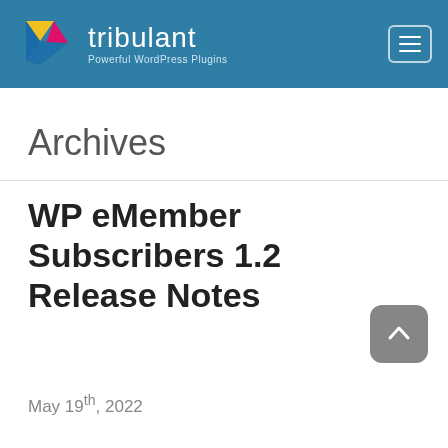tribulant — Powerful WordPress Plugins
Archives
WP eMember Subscribers 1.2 Release Notes
May 19th, 2022